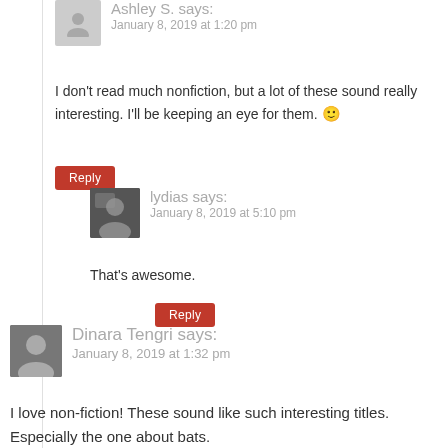Ashley S. says:
January 8, 2019 at 1:20 pm
I don't read much nonfiction, but a lot of these sound really interesting. I'll be keeping an eye for them. 🙂
Reply
lydias says:
January 8, 2019 at 5:10 pm
That's awesome.
Reply
Dinara Tengri says:
January 8, 2019 at 1:32 pm
I love non-fiction! These sound like such interesting titles. Especially the one about bats.
Reply
lydias says: